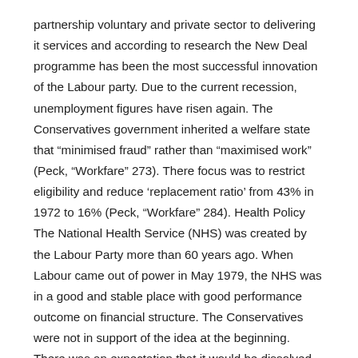partnership voluntary and private sector to delivering it services and according to research the New Deal programme has been the most successful innovation of the Labour party. Due to the current recession, unemployment figures have risen again. The Conservatives government inherited a welfare state that “minimised fraud” rather than “maximised work” (Peck, “Workfare” 273). There focus was to restrict eligibility and reduce ‘replacement ratio’ from 43% in 1972 to 16% (Peck, “Workfare” 284). Health Policy The National Health Service (NHS) was created by the Labour Party more than 60 years ago. When Labour came out of power in May 1979, the NHS was in a good and stable place with good performance outcome on financial structure. The Conservatives were not in support of the idea at the beginning. There was an expectation that it would be dissolved when Margaret Thatcher came into power in 1979 but this failed to happen as stated in her 1979 manifesto “I have no intention of dismantling the health service than in dismantling Britain’s defence” (Margaret Thatcher 1979). However the government aims to bring